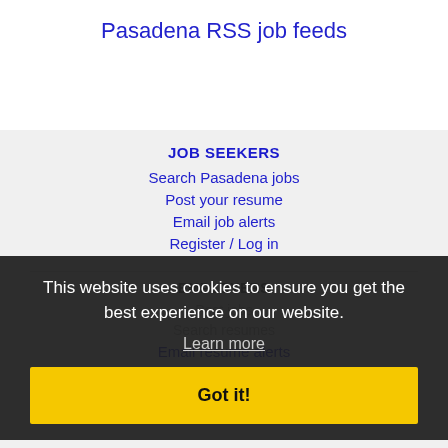Pasadena RSS job feeds
JOB SEEKERS
Search Pasadena jobs
Post your resume
Email job alerts
Register / Log in
EMPLOYERS
Post jobs
Search resumes
Email resume alerts
Advertise
This website uses cookies to ensure you get the best experience on our website.
Learn more
Got it!